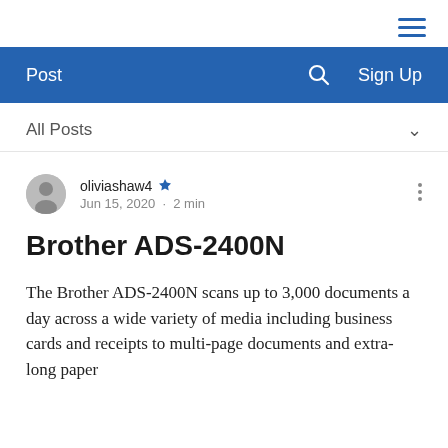[Figure (other): Hamburger menu icon (three horizontal blue lines) in top-right corner]
Post  🔍  Sign Up
All Posts
oliviashaw4  Jun 15, 2020 · 2 min
Brother ADS-2400N
The Brother ADS-2400N scans up to 3,000 documents a day across a wide variety of media including business cards and receipts to multi-page documents and extra-long paper